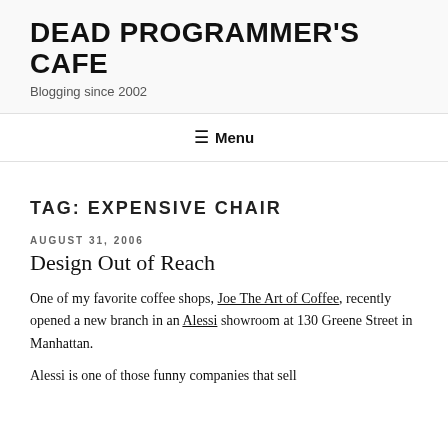DEAD PROGRAMMER'S CAFE
Blogging since 2002
☰ Menu
TAG: EXPENSIVE CHAIR
AUGUST 31, 2006
Design Out of Reach
One of my favorite coffee shops, Joe The Art of Coffee, recently opened a new branch in an Alessi showroom at 130 Greene Street in Manhattan.
Alessi is one of those funny companies that sell